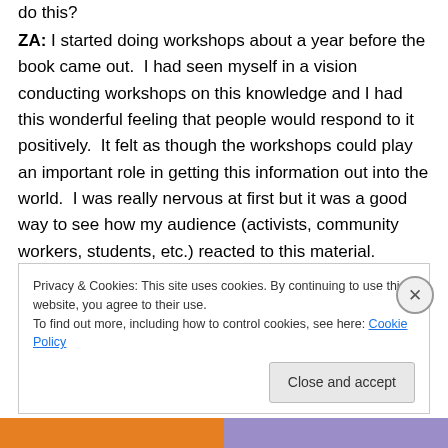do this?
ZA: I started doing workshops about a year before the book came out.  I had seen myself in a vision conducting workshops on this knowledge and I had this wonderful feeling that people would respond to it positively.  It felt as though the workshops could play an important role in getting this information out into the world.  I was really nervous at first but it was a good way to see how my audience (activists, community workers, students, etc.) reacted to this material.  Workshop participants helped me
Privacy & Cookies: This site uses cookies. By continuing to use this website, you agree to their use.
To find out more, including how to control cookies, see here: Cookie Policy